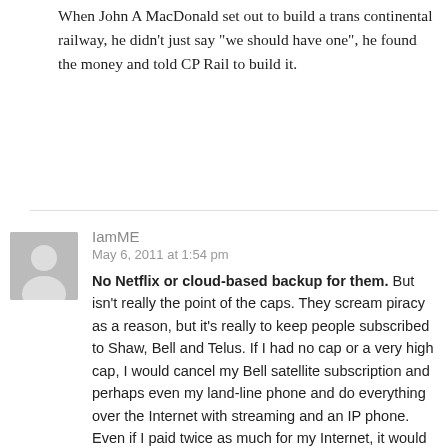When John A MacDonald set out to build a trans continental railway, he didn't just say "we should have one", he found the money and told CP Rail to build it.
IamME
May 6, 2011 at 1:54 pm

No Netflix or cloud-based backup for them. But isn't really the point of the caps. They scream piracy as a reason, but it's really to keep people subscribed to Shaw, Bell and Telus. If I had no cap or a very high cap, I would cancel my Bell satellite subscription and perhaps even my land-line phone and do everything over the Internet with streaming and an IP phone. Even if I paid twice as much for my Internet, it would save me well over $100/mo. THIS is what the